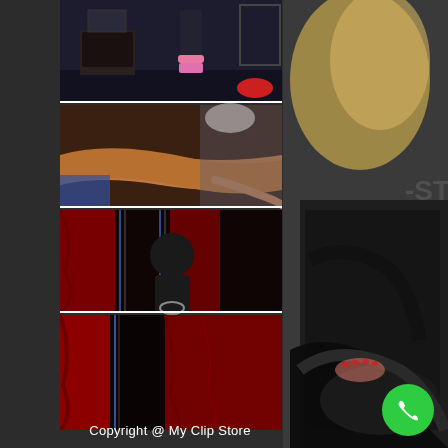[Figure (photo): Four thumbnail images arranged vertically on left side: dark room scene, person lying on surface, dark room with red curtains and lights, red curtains close-up. Right side shows partial image of blonde person holding black equipment.]
Copyright @ My Clip Store